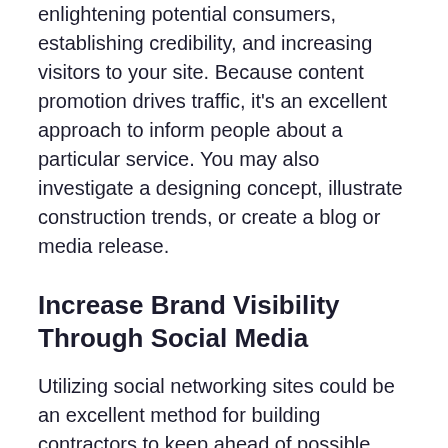enlightening potential consumers, establishing credibility, and increasing visitors to your site. Because content promotion drives traffic, it's an excellent approach to inform people about a particular service. You may also investigate a designing concept, illustrate construction trends, or create a blog or media release.
Increase Brand Visibility Through Social Media
Utilizing social networking sites could be an excellent method for building contractors to keep ahead of possible clients and develop brand recognition. Contractor digital marketing strategies may use them to publish photographs and clips and run advertising that is geo-targeted and interest-based.